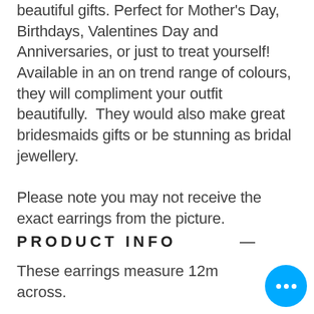beautiful gifts. Perfect for Mother's Day, Birthdays, Valentines Day and Anniversaries, or just to treat yourself!  Available in an on trend range of colours, they will compliment your outfit beautifully.  They would also make great bridesmaids gifts or be stunning as bridal jewellery.

Please note you may not receive the exact earrings from the picture.
PRODUCT INFO
These earrings measure 12mm across.